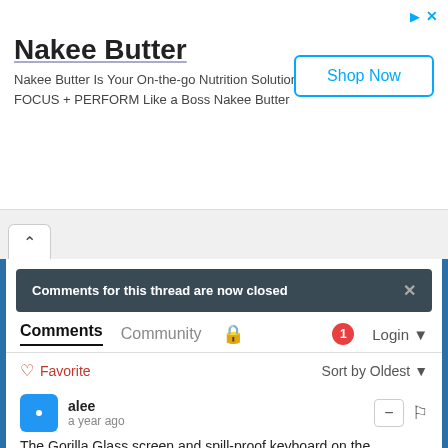[Figure (screenshot): Advertisement banner for Nakee Butter with Shop Now button]
Nakee Butter
Nakee Butter Is Your On-the-go Nutrition Solution. FOCUS + PERFORM Like a Boss Nakee Butter
Shop Now
Comments for this thread are now closed
Comments  Community  🔒  1  Login ▾
♡ Favorite    Sort by Oldest ▾
alee
a year ago
The Gorilla Glass screen and spill-proof keyboard on the Chromebook seem like they're targeted at parents buying this for their children, though they could certainly be useful for adults as well.